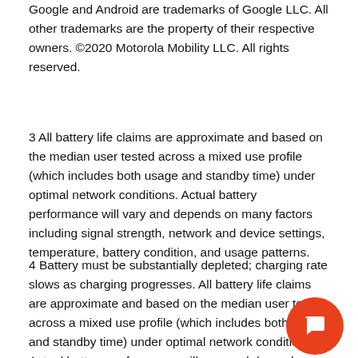Google and Android are trademarks of Google LLC. All other trademarks are the property of their respective owners. ©2020 Motorola Mobility LLC. All rights reserved.
3 All battery life claims are approximate and based on the median user tested across a mixed use profile (which includes both usage and standby time) under optimal network conditions. Actual battery performance will vary and depends on many factors including signal strength, network and device settings, temperature, battery condition, and usage patterns.
4 Battery must be substantially depleted; charging rate slows as charging progresses. All battery life claims are approximate and based on the median user tested across a mixed use profile (which includes both usage and standby time) under optimal network conditions. Actual battery performance will vary and depends on many factors including